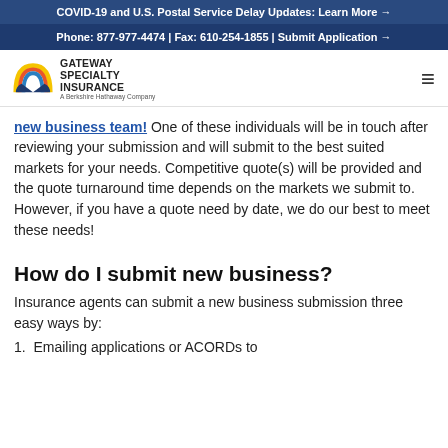COVID-19 and U.S. Postal Service Delay Updates: Learn More →
Phone: 877-977-4474 | Fax: 610-254-1855 | Submit Application →
[Figure (logo): Gateway Specialty Insurance logo — a Berkshire Hathaway Company, with rainbow arc icon]
new business team! One of these individuals will be in touch after reviewing your submission and will submit to the best suited markets for your needs. Competitive quote(s) will be provided and the quote turnaround time depends on the markets we submit to. However, if you have a quote need by date, we do our best to meet these needs!
How do I submit new business?
Insurance agents can submit a new business submission three easy ways by:
1.  Emailing applications or ACORDs to